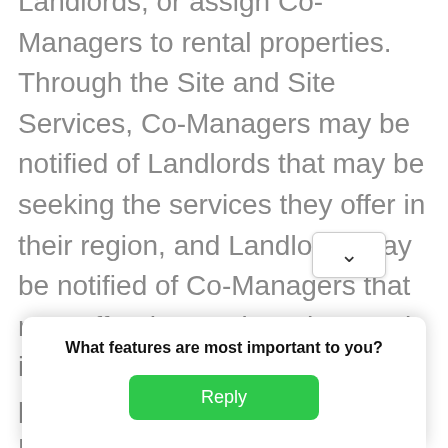Landlords, or assign Co-Managers to rental properties. Through the Site and Site Services, Co-Managers may be notified of Landlords that may be seeking the services they offer in their region, and Landlords may be notified of Co-Managers that may offer the services they seek in the region of their rental properties; at all times, however, Users are responsible for evaluating and determining the suitability of any Landlord or Co-Manager on the [dropdown]. If Users... Agr...
[Figure (screenshot): A popup dialog overlay with a dropdown arrow button visible, containing bold text 'What features are most important to you?' and a green Reply button.]